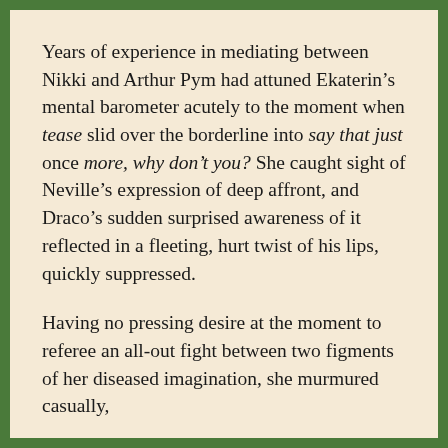Years of experience in mediating between Nikki and Arthur Pym had attuned Ekaterin’s mental barometer acutely to the moment when tease slid over the borderline into say that just once more, why don’t you? She caught sight of Neville’s expression of deep affront, and Draco’s sudden surprised awareness of it reflected in a fleeting, hurt twist of his lips, quickly suppressed.
Having no pressing desire at the moment to referee an all-out fight between two figments of her diseased imagination, she murmured casually,
“Well, I’ll admit it’s nice knowing you don’t have to cook, and Ma Kosti really is superb in the kitchen, but sometimes I do find I miss doing it. I used to really enjoy the cooking I did, before I